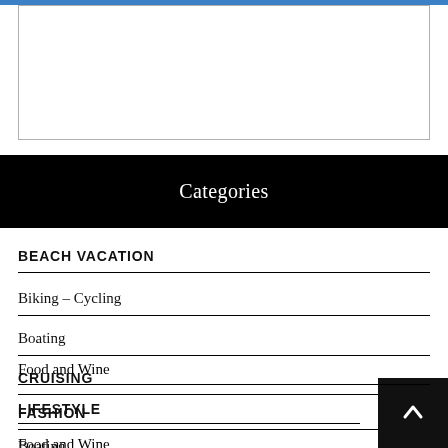[Figure (other): Advertisement placeholder box with blue top border]
Categories
BEACH VACATION
Biking – Cycling
Boating
CRUISING
FASHION
Food and Wine
LIFESTYLE
Boating